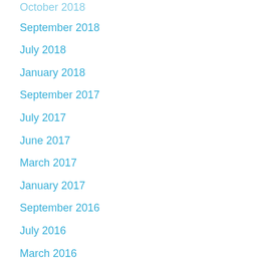October 2018
September 2018
July 2018
January 2018
September 2017
July 2017
June 2017
March 2017
January 2017
September 2016
July 2016
March 2016
February 2016
January 2016